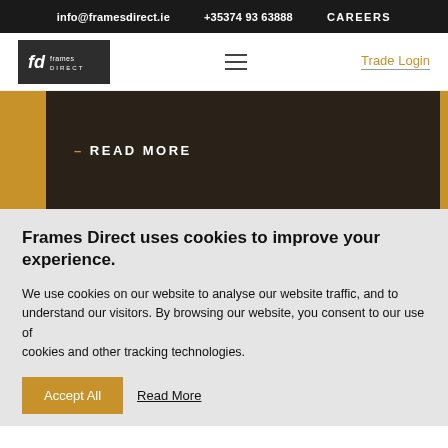info@framesdirect.ie   +35374 93 63888   CAREERS
[Figure (logo): Frames Direct logo - white fd monogram on dark background with 'frames DIRECT' text]
Trade Login
[Figure (screenshot): Dark brown banner with gold background showing '- READ MORE' text in white uppercase]
Frames Direct uses cookies to improve your experience.
We use cookies on our website to analyse our website traffic, and to understand our visitors. By browsing our website, you consent to our use of cookies and other tracking technologies.
Accept All   Read More